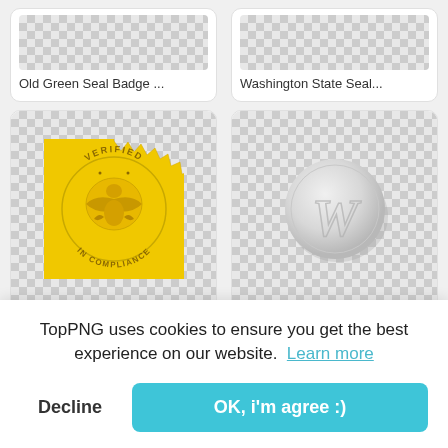[Figure (screenshot): Top-left card: Old Green Seal Badge image on checkered transparent background]
Old Green Seal Badge ...
[Figure (screenshot): Top-right card: Washington State Seal image on checkered transparent background]
Washington State Seal...
[Figure (illustration): Middle-left card: Yellow/gold verified compliance seal badge with eagle emblem, text VERIFIED IN COMPLIANCE]
Cer...
[Figure (illustration): Middle-right card: White wax seal with W letter embossed, on checkered transparent background]
[Figure (screenshot): Bottom-left partial card with checkered background and partial illustration visible]
[Figure (screenshot): Bottom-right partial card with checkered background and partial illustration visible]
TopPNG uses cookies to ensure you get the best experience on our website.  Learn more
Decline
OK, i'm agree :)